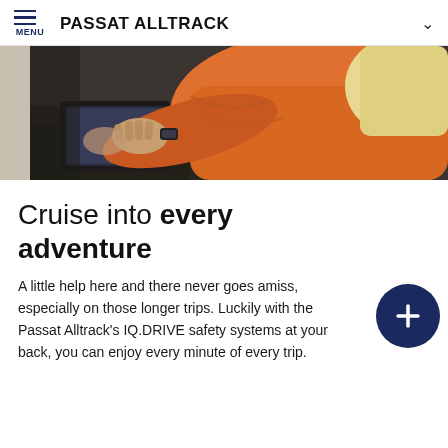MENU  PASSAT ALLTRACK
[Figure (photo): A person in an orange top interacting with a car dashboard/infotainment system, photographed from the side/inside the vehicle.]
Cruise into every adventure
A little help here and there never goes amiss, especially on those longer trips. Luckily with the Passat Alltrack's IQ.DRIVE safety systems at your back, you can enjoy every minute of every trip.